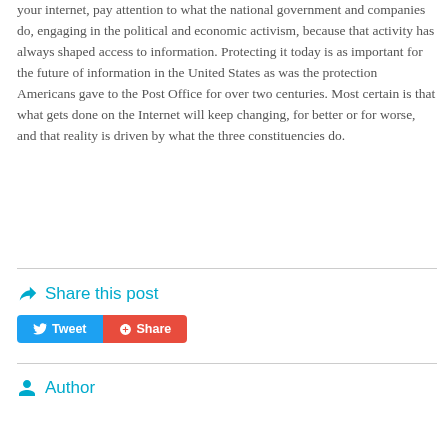your internet, pay attention to what the national government and companies do, engaging in the political and economic activism, because that activity has always shaped access to information. Protecting it today is as important for the future of information in the United States as was the protection Americans gave to the Post Office for over two centuries. Most certain is that what gets done on the Internet will keep changing, for better or for worse, and that reality is driven by what the three constituencies do.
Share this post
[Figure (other): Tweet and Share buttons: a blue Tweet button with Twitter bird icon and a red Share button with Google+ icon]
Author